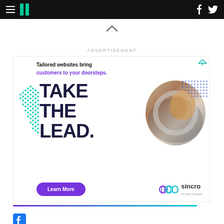HuffPost navigation with logo, hamburger menu, Facebook and Twitter icons
[Figure (screenshot): Website advertisement for Sincro: 'Tailored websites bring customers to your doorsteps. TAKE THE LEAD.' with a circular photo of hands on a steering wheel, teal arrow graphics, a purple Learn More button, and Sincro (An Avery Company) branding.]
ADVERTISEMENT
[Figure (logo): Facebook logo icon at bottom left]